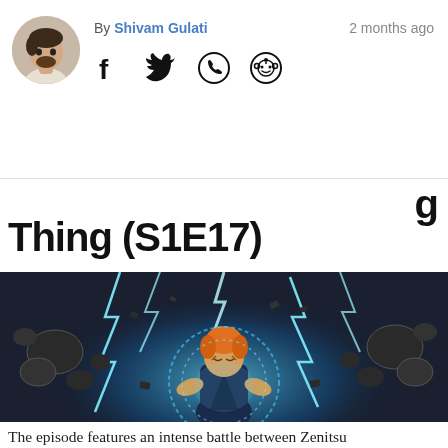By Shivam Gulati   2 months ago
Thing (S1E17)
[Figure (illustration): Anime scene from Demon Slayer showing Zenitsu surrounded by lightning and flying debris in a dramatic battle pose]
The episode features an intense battle between Zenitsu